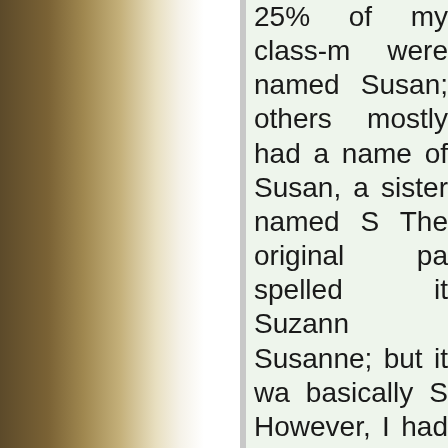[Figure (photo): Left side of page showing a blurred/out-of-focus photograph with warm brown and golden tones, transitioning to white on the right edge]
25% of my class-mates were named Susan; others mostly had a name of Susan, a sister named S… The original pa… spelled it Suzann… Susanne; but it wa… basically S… However, I had… escape. My father h… his study a big red… which included a… stories from the… including that… Susanna. I loved… Susanna was f…